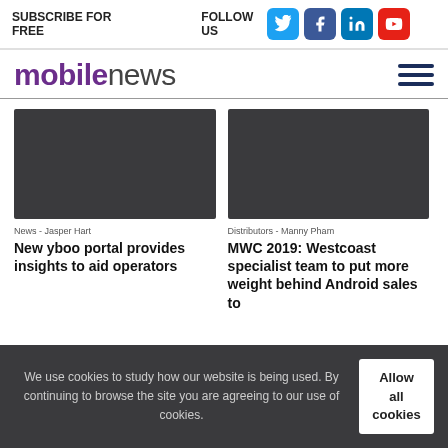SUBSCRIBE FOR FREE    FOLLOW US
mobilenews
[Figure (photo): Dark grey placeholder image for article: New yboo portal provides insights to aid operators]
News - Jasper Hart
New yboo portal provides insights to aid operators
[Figure (photo): Dark grey placeholder image for article: MWC 2019: Westcoast specialist team to put more weight behind Android sales to]
Distributors - Manny Pham
MWC 2019: Westcoast specialist team to put more weight behind Android sales to
We use cookies to study how our website is being used. By continuing to browse the site you are agreeing to our use of cookies.